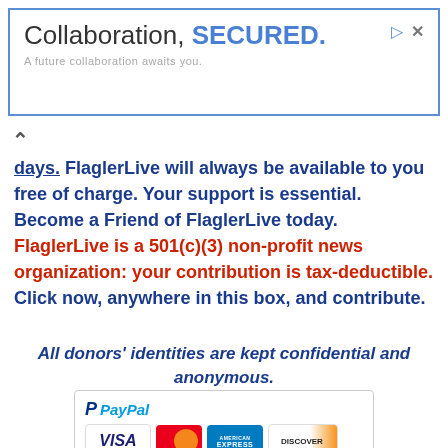[Figure (other): Advertisement banner with blue border. Text reads 'Collaboration, SECURED.' with subtitle 'A future collaboration awaits you.' and ad icons.]
days. FlaglerLive will always be available to you free of charge. Your support is essential. Become a Friend of FlaglerLive today. FlaglerLive is a 501(c)(3) non-profit news organization: your contribution is tax-deductible. Click now, anywhere in this box, and contribute.
All donors' identities are kept confidential and anonymous.
[Figure (other): PayPal payment logo with accepted credit cards: VISA, MasterCard, American Express, Discover.]